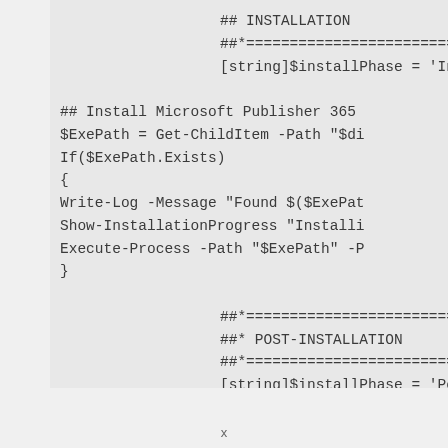[Figure (screenshot): PowerShell script code snippet showing INSTALLATION and POST-INSTALLATION sections with Microsoft Publisher 365 install logic. Code is displayed on a light grey background, partially clipped on the right side.]
x